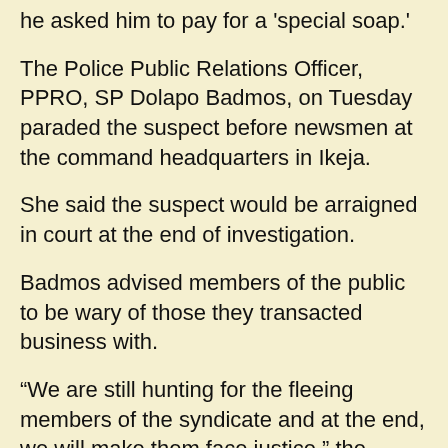he asked him to pay for a 'special soap.'
The Police Public Relations Officer, PPRO, SP Dolapo Badmos, on Tuesday paraded the suspect before newsmen at the command headquarters in Ikeja.
She said the suspect would be arraigned in court at the end of investigation.
Badmos advised members of the public to be wary of those they transacted business with.
“We are still hunting for the fleeing members of the syndicate and at the end, we will make them face justice,” the PPRO added.
In his confession, the herbalist said he told Lekan, who worked in one of the banks on the Victoria Island, that the soap, when kept in a box for two days, would produce a lot of money.